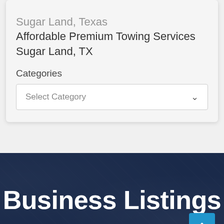Sugar Land, Texas
Affordable Premium Towing Services
Sugar Land, TX
Categories
Select Category
Business Listings